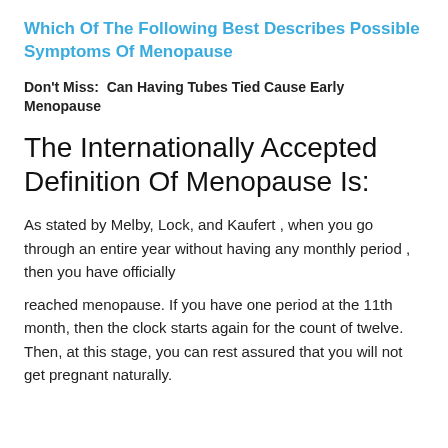Which Of The Following Best Describes Possible Symptoms Of Menopause
Don't Miss:  Can Having Tubes Tied Cause Early Menopause
The Internationally Accepted Definition Of Menopause Is:
As stated by Melby, Lock, and Kaufert , when you go through an entire year without having any monthly period , then you have officially
reached menopause. If you have one period at the 11th month, then the clock starts again for the count of twelve. Then, at this stage, you can rest assured that you will not get pregnant naturally.